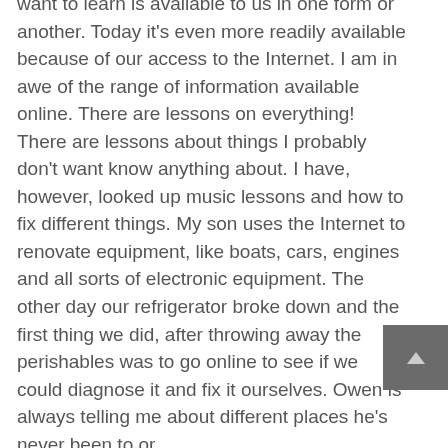want to learn  is available to us in one form or another.  Today it's even more readily available because of our access to the Internet.  I am in awe of the range of information available online.  There are lessons on everything!  There are lessons about things I probably don't want know anything about.  I have, however, looked up music lessons and how to fix different things.  My son uses the Internet to renovate equipment, like boats, cars, engines and all sorts of electronic equipment.  The other day our refrigerator broke down and the first thing we did, after throwing away the perishables was to go online to see if we could diagnose it and fix it ourselves.  Owen is always telling me about different places he's never been to or